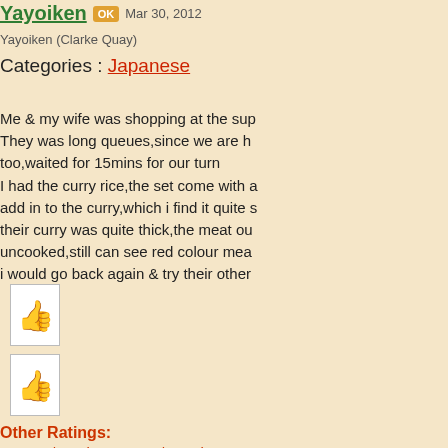Yayoiken  OK  Mar 30, 2012
Yayoiken  (Clarke Quay)
Categories : Japanese
Me & my wife was shopping at the sup... They was long queues,since we are h... too,waited for 15mins for our turn I had the curry rice,the set come with a... add in to the curry,which i find it quite s... their curry was quite thick,the meat ou... uncooked,still can see red colour mea... i would go back again & try their other...
[Figure (illustration): Thumbs up icon in a white box]
[Figure (illustration): Thumbs up icon in a white box]
Other Ratings:
Taste 3  |  Environment 3  |  Service 3
[Figure (illustration): Emoji reaction icons: thinking face, cool face with sunglasses, tongue-out face. With radio buttons: Keep it up!, Looking Forward, Interesting]